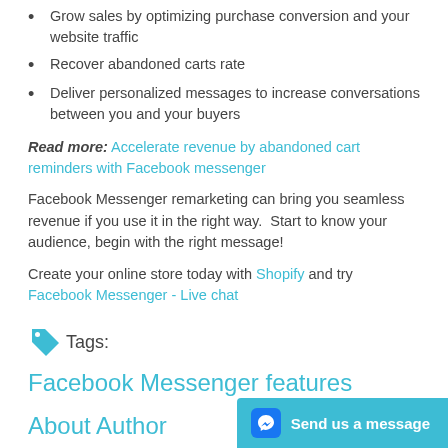Grow sales by optimizing purchase conversion and your website traffic
Recover abandoned carts rate
Deliver personalized messages to increase conversations between you and your buyers
Read more: Accelerate revenue by abandoned cart reminders with Facebook messenger
Facebook Messenger remarketing can bring you seamless revenue if you use it in the right way.  Start to know your audience, begin with the right message!
Create your online store today with Shopify and try Facebook Messenger - Live chat
Tags:
Facebook Messenger features
About Author
Send us a message